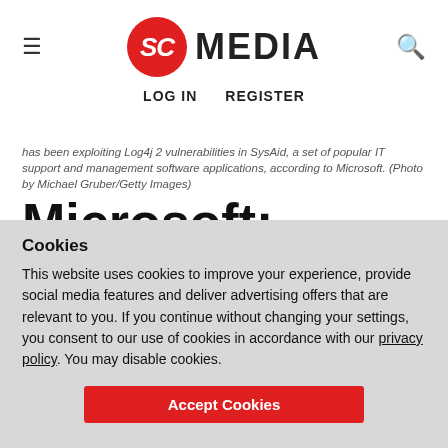SC MEDIA | LOG IN  REGISTER
on May 24, 2021, in Vienna. A hacking group linked to the Iranian government has been exploiting Log4j 2 vulnerabilities in SysAid, a set of popular IT support and management software applications, according to Microsoft. (Photo by Michael Gruber/Getty Images)
Microsoft: Iranian cyberespionage group likely exploiting Log4j
Cookies
This website uses cookies to improve your experience, provide social media features and deliver advertising offers that are relevant to you. If you continue without changing your settings, you consent to our use of cookies in accordance with our privacy policy. You may disable cookies.
Accept Cookies